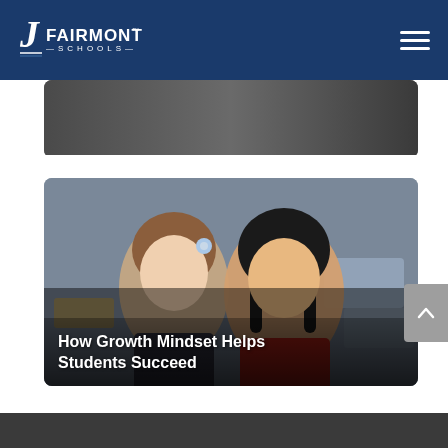Fairmont Schools
[Figure (photo): Partially visible photo strip at top of page, showing a classroom scene]
[Figure (photo): Two young girls smiling in a classroom setting. One girl has brown hair with a flower clip and the other has dark hair in braids wearing a red top. Classroom furniture and supplies visible in background.]
How Growth Mindset Helps Students Succeed